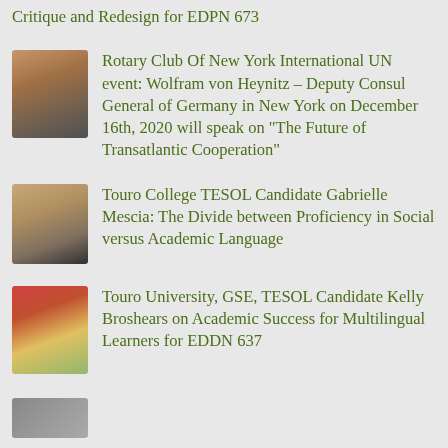Critique and Redesign for EDPN 673
Rotary Club Of New York International UN event: Wolfram von Heynitz - Deputy Consul General of Germany in New York on December 16th, 2020 will speak on "The Future of Transatlantic Cooperation"
Touro College TESOL Candidate Gabrielle Mescia: The Divide between Proficiency in Social versus Academic Language
Touro University, GSE, TESOL Candidate Kelly Broshears on Academic Success for Multilingual Learners for EDDN 637